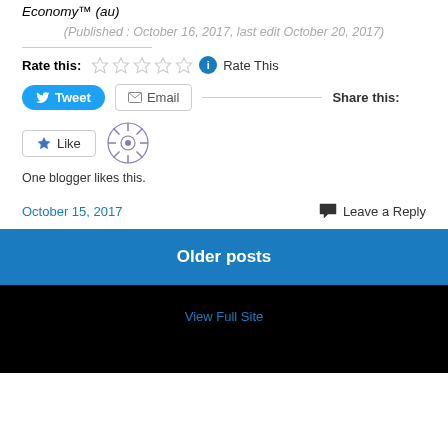Economy™ (au)
(Published : October 16, 2017, last edit October 20, 2017)
Rate this:  ☆☆☆☆☆  Rate This
Tweet  Email  Share this:
[Figure (other): Like button with star icon and blogger avatar snowflake icon]
One blogger likes this.
October 15, 2017    Leave a Reply
Older posts
View Full Site